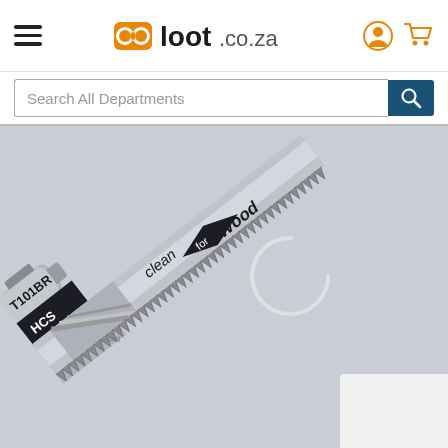[Figure (logo): loot.co.za website logo with orange glasses icon]
Search All Departments
[Figure (photo): Bosch T101BR HCS jigsaw blade for clean cuts in wood, shown diagonally against grey background with a loading spinner circle visible]